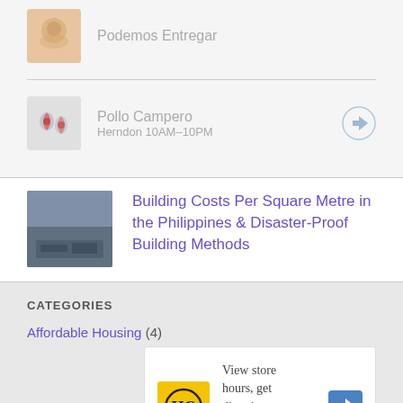Podemos Entregar
Pollo Campero
Herndon 10AM–10PM
Building Costs Per Square Metre in the Philippines & Disaster-Proof Building Methods
CATEGORIES
Affordable Housing (4)
View store hours, get directions, or call your salon!